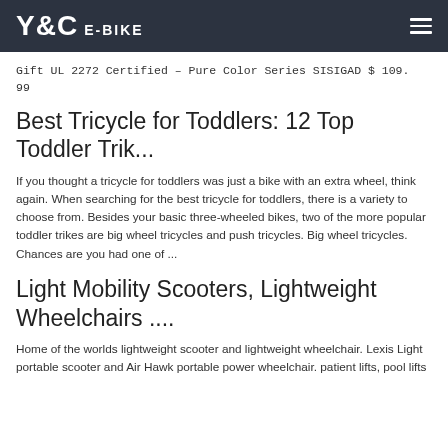Y&C E-BIKE
Gift UL 2272 Certified – Pure Color Series SISIGAD $ 109. 99
Best Tricycle for Toddlers: 12 Top Toddler Trik...
If you thought a tricycle for toddlers was just a bike with an extra wheel, think again. When searching for the best tricycle for toddlers, there is a variety to choose from. Besides your basic three-wheeled bikes, two of the more popular toddler trikes are big wheel tricycles and push tricycles. Big wheel tricycles. Chances are you had one of ...
Light Mobility Scooters, Lightweight Wheelchairs ....
Home of the worlds lightweight scooter and lightweight wheelchair. Lexis Light portable scooter and Air Hawk portable power wheelchair. patient lifts, pool lifts